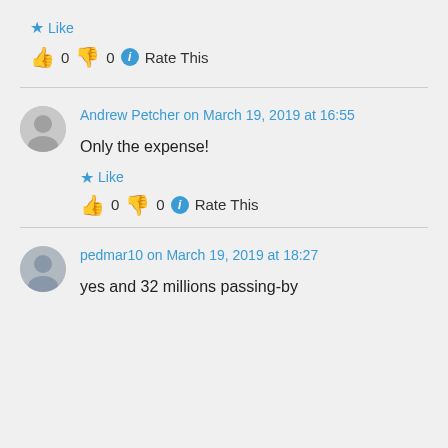★ Like
👍 0 👎 0 ℹ Rate This
Andrew Petcher on March 19, 2019 at 16:55
Only the expense!
★ Like
👍 0 👎 0 ℹ Rate This
pedmar10 on March 19, 2019 at 18:27
yes and 32 millions passing-by